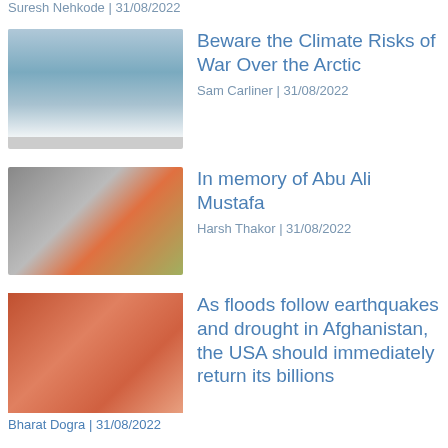Suresh Nehkode | 31/08/2022
[Figure (photo): Aerial view of arctic ice and ocean]
Beware the Climate Risks of War Over the Arctic
Sam Carliner | 31/08/2022
[Figure (photo): Portrait of Abu Ali Mustafa alongside a woman with sunglasses]
In memory of Abu Ali Mustafa
Harsh Thakor | 31/08/2022
[Figure (photo): Child wrapped in red fabric, Afghanistan floods]
As floods follow earthquakes and drought in Afghanistan, the USA should immediately return its billions
Bharat Dogra | 31/08/2022
[Figure (photo): Green trees and forest, Punjab environment]
Punjab's Growing Environment Activism is Welcome, Should Have Wider Horizon
Bharat Dogra | 31/08/2022
[Figure (photo): Blue button stub at bottom of page]